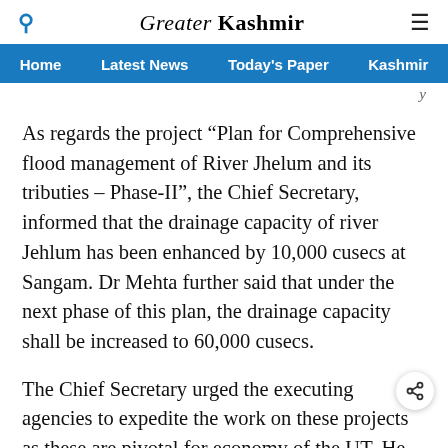Greater Kashmir
Home | Latest News | Today's Paper | Kashmir
As regards the project “Plan for Comprehensive flood management of River Jhelum and its tributies – Phase-II”, the Chief Secretary, informed that the drainage capacity of river Jehlum has been enhanced by 10,000 cusecs at Sangam. Dr Mehta further said that under the next phase of this plan, the drainage capacity shall be increased to 60,000 cusecs.
The Chief Secretary urged the executing agencies to expedite the work on these projects as these are pivotal for economy of the UT. He expressed